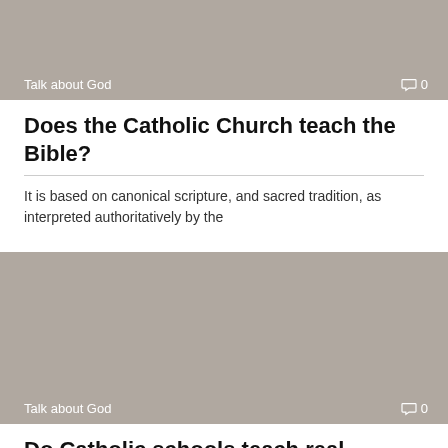[Figure (photo): Gray placeholder image with 'Talk about God' label and comment count 0]
Does the Catholic Church teach the Bible?
It is based on canonical scripture, and sacred tradition, as interpreted authoritatively by the
[Figure (photo): Gray placeholder image with 'Talk about God' label and comment count 0]
Do Catholic schools teach real science?
Catholic Church sees no doctrinal conflict between science and religion, and therefore it considers